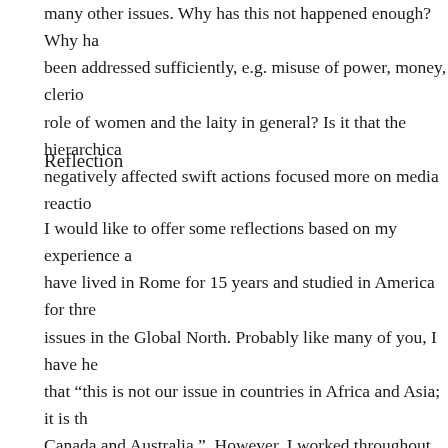should be a calling for us to reach the whole world with many other issues. Why has this not happened enough? Why has it not been addressed sufficiently, e.g. misuse of power, money, clericalism, role of women and the laity in general? Is it that the hierarchical has negatively affected swift actions focused more on media reactions
Reflection
I would like to offer some reflections based on my experience as I have lived in Rome for 15 years and studied in America for three issues in the Global North. Probably like many of you, I have heard that “this is not our issue in countries in Africa and Asia; it is the Canada and Australia.”. However, I worked throughout Nigeria for nine years and heard the stories and counselled many people were and still are and sharing a few of my personal experiences. ’90s a priest told me there were sexual abuses in the convents and president of the Nigeria Conference of Women Religious, I should the issue. A second priest in the early 2000s said that a particular incest but I added that from my personal experience incest is a w